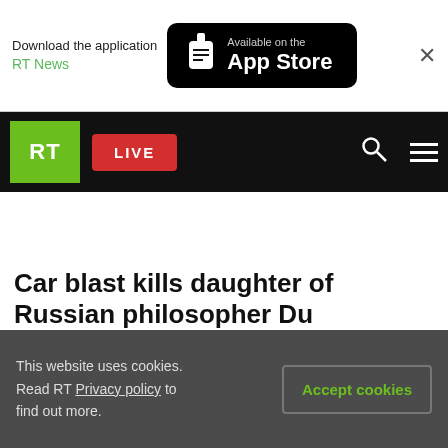[Figure (screenshot): App Store download banner: 'Download the application RT News' with Available on the App Store button and close X button]
RT LIVE (navigation bar with search and menu icons)
Car blast kills daughter of Russian philosopher Du
This website uses cookies. Read RT Privacy policy to find out more.
Accept cookies